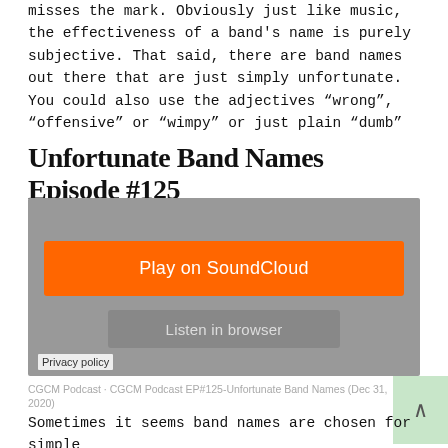misses the mark. Obviously just like music, the effectiveness of a band's name is purely subjective. That said, there are band names out there that are just simply unfortunate. You could also use the adjectives “wrong”, “offensive” or “wimpy” or just plain “dumb”
Unfortunate Band Names Episode #125
[Figure (screenshot): SoundCloud embedded audio player with orange 'Play on SoundCloud' button and grey 'Listen in browser' button, on a grey background with a 'Privacy policy' label at the bottom left.]
CGCM Podcast · CGCM Podcast EP#125-Unfortunate Band Names (Dec 31, 2020)
Sometimes it seems band names are chosen for simple